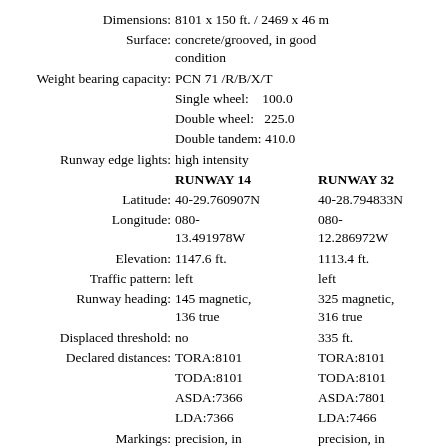| Field | Runway 14 | Runway 32 |
| --- | --- | --- |
| Dimensions: | 8101 x 150 ft. / 2469 x 46 m |  |
| Surface: | concrete/grooved, in good condition |  |
| Weight bearing capacity: | PCN 71 /R/B/X/T |  |
|  | Single wheel:    100.0 |  |
|  | Double wheel:    225.0 |  |
|  | Double tandem: 410.0 |  |
| Runway edge lights: | high intensity |  |
|  | RUNWAY 14 | RUNWAY 32 |
| Latitude: | 40-29.760907N | 40-28.794833N |
| Longitude: | 080-13.491978W | 080-12.286972W |
| Elevation: | 1147.6 ft. | 1113.4 ft. |
| Traffic pattern: | left | left |
| Runway heading: | 145 magnetic, 136 true | 325 magnetic, 316 true |
| Displaced threshold: | no | 335 ft. |
| Declared distances: | TORA:8101 | TORA:8101 |
|  | TODA:8101 | TODA:8101 |
|  | ASDA:7366 | ASDA:7801 |
|  | LDA:7366 | LDA:7466 |
| Markings: | precision, in good condition | precision, in good condition |
| Visual slope indicator: | 4-light PAPI on | 4-light PAPI on |